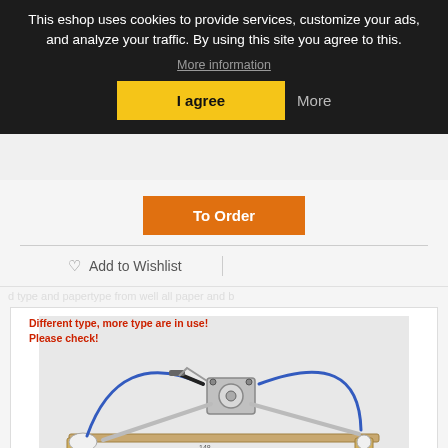This eshop uses cookies to provide services, customize your ads, and analyze your traffic. By using this site you agree to this.
More information
I agree
More
To Order
Add to Wishlist
[Figure (photo): Window regulator part photo with text overlay: 'Different type, more type are in use! Please check!']